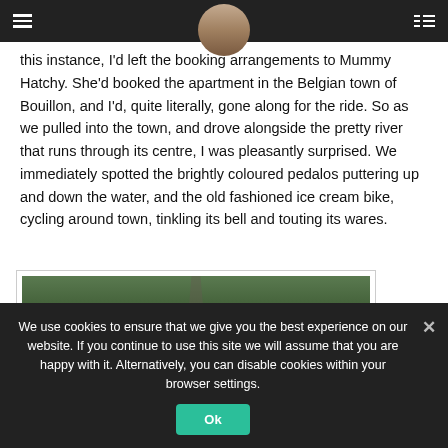[Navigation header with hamburger menu, profile photo, and list icon]
asking me whereabouts we're going in Belgium, had to own up to the fact I had no idea. In this instance, I'd left the booking arrangements to Mummy Hatchy. She'd booked the apartment in the Belgian town of Bouillon, and I'd, quite literally, gone along for the ride. So as we pulled into the town, and drove alongside the pretty river that runs through its centre, I was pleasantly surprised. We immediately spotted the brightly coloured pedalos puttering up and down the water, and the old fashioned ice cream bike, cycling around town, tinkling its bell and touting its wares.
[Figure (photo): Partial view of a photograph showing green landscape, possibly aerial or elevated view of trees and a road or path]
We use cookies to ensure that we give you the best experience on our website. If you continue to use this site we will assume that you are happy with it. Alternatively, you can disable cookies within your browser settings.